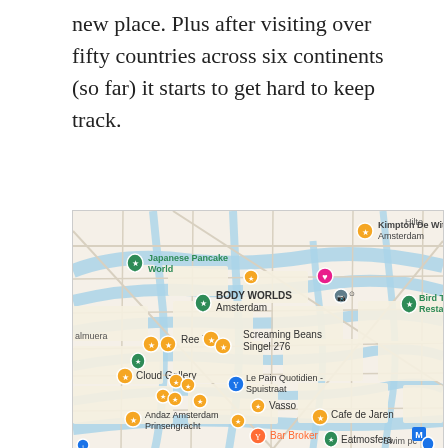new place. Plus after visiting over fifty countries across six continents (so far) it starts to get hard to keep track.
[Figure (map): Google Maps screenshot showing Amsterdam city center with various pinned locations including Kimpton De Witt Amsterdam, Japanese Pancake World, BODY WORLDS Amsterdam, Bird Thais Restaurant, Screaming Beans Singel 276, Ree 7, Cloud Gallery, Le Pain Quotidien Spuistraat, Vasso, Andaz Amsterdam Prinsengracht, Cafe de Jaren, Bar Broker, Eatmosfera, Swim pc. Map shows canal network of Amsterdam with streets and waterways.]